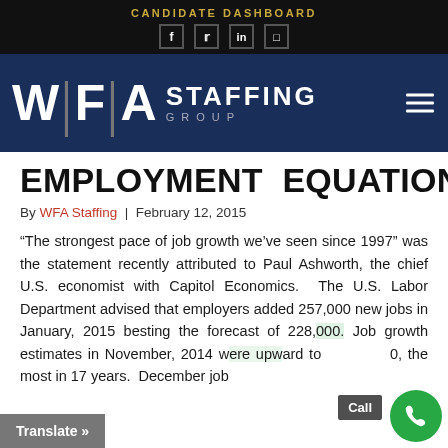CANDIDATE DASHBOARD
[Figure (logo): WFA Staffing Group logo on dark blue navigation bar with hamburger menu icon]
EMPLOYMENT EQUATION
By WFA Staffing | February 12, 2015
“The strongest pace of job growth we’ve seen since 1997” was the statement recently attributed to Paul Ashworth, the chief U.S. economist with Capitol Economics. The U.S. Labor Department advised that employers added 257,000 new jobs in January, 2015 besting the forecast of 228,000. Job growth estimates in November, 2014 were upward to the most in 17 years. December job...